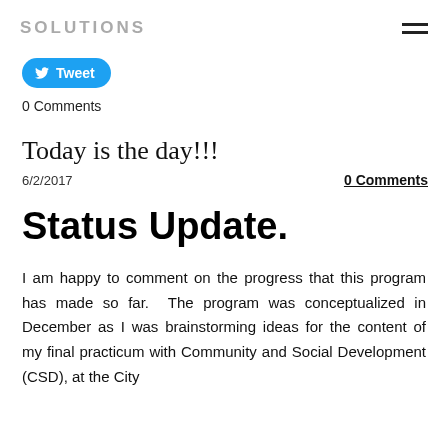SOLUTIONS
[Figure (other): Tweet button with Twitter bird icon]
0 Comments
Today is the day!!!
6/2/2017
0 Comments
Status Update.
I am happy to comment on the progress that this program has made so far. The program was conceptualized in December as I was brainstorming ideas for the content of my final practicum with Community and Social Development (CSD), at the City